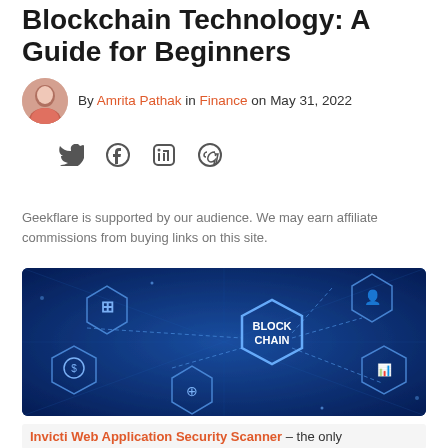Blockchain Technology: A Guide for Beginners
By Amrita Pathak in Finance on May 31, 2022
[Figure (illustration): Blockchain technology concept illustration showing interconnected hexagonal nodes with icons on a dark blue background, with a central node labeled BLOCK CHAIN]
Geekflare is supported by our audience. We may earn affiliate commissions from buying links on this site.
Invicti Web Application Security Scanner - the only